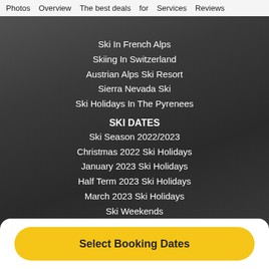Photos   Overview   The best deals for   Services   Reviews
Ski In French Alps
Skiing In Switzerland
Austrian Alps Ski Resort
Sierra Nevada Ski
Ski Holidays In The Pyrenees
SKI DATES
Ski Season 2022/2023
Christmas 2022 Ski Holidays
January 2023 Ski Holidays
Half Term 2023 Ski Holidays
March 2023 Ski Holidays
Ski Weekends
SKI DEALS
Skiing In Soldeu
Skiing In Innsbruck
Skiing In Tignes
Select Booking Dates